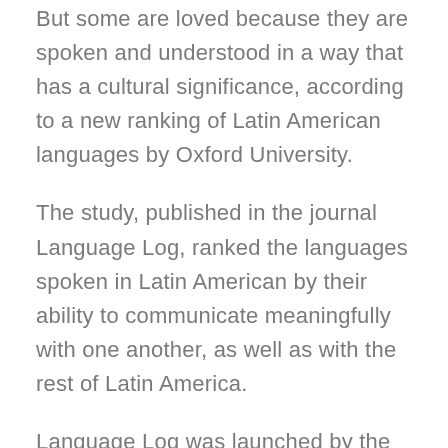But some are loved because they are spoken and understood in a way that has a cultural significance, according to a new ranking of Latin American languages by Oxford University.
The study, published in the journal Language Log, ranked the languages spoken in Latin American by their ability to communicate meaningfully with one another, as well as with the rest of Latin America.
Language Log was launched by the International Language Association (ILA), a non-profit organization that promotes the development of Latin-American languages.